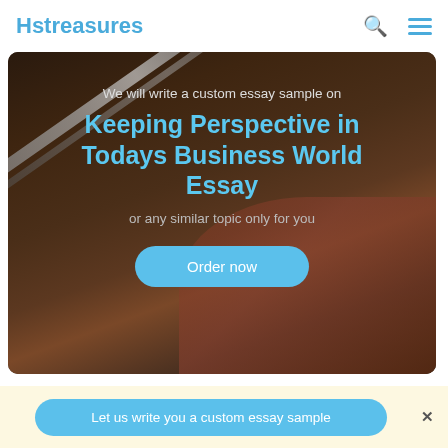Hstreasures
[Figure (photo): Dark background hero image with a pen on notebook, overlaid with text about custom essay writing service]
Keeping Perspective in Todays Business World Essay
We will write a custom essay sample on
or any similar topic only for you
Order now
Let us write you a custom essay sample